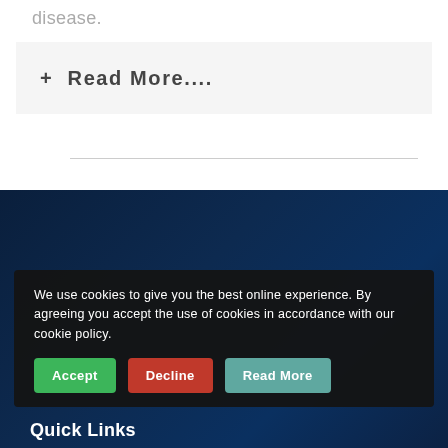disease.
+ Read More....
Quick Links
We use cookies to give you the best online experience. By agreeing you accept the use of cookies in accordance with our cookie policy.
Accept
Decline
Read More